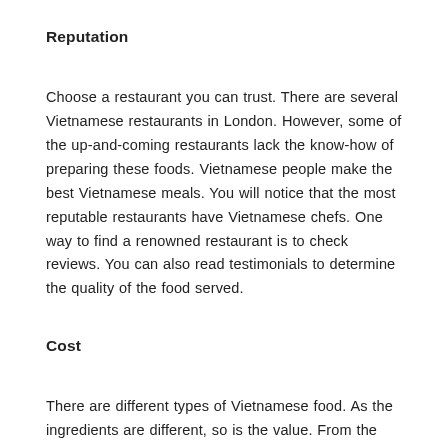Reputation
Choose a restaurant you can trust. There are several Vietnamese restaurants in London. However, some of the up-and-coming restaurants lack the know-how of preparing these foods. Vietnamese people make the best Vietnamese meals. You will notice that the most reputable restaurants have Vietnamese chefs. One way to find a renowned restaurant is to check reviews. You can also read testimonials to determine the quality of the food served.
Cost
There are different types of Vietnamese food. As the ingredients are different, so is the value. From the menu, you can compare the prices and choose the right dishes for you.